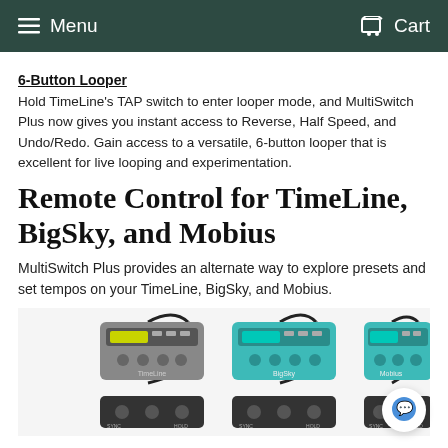Menu   Cart
6-Button Looper
Hold TimeLine's TAP switch to enter looper mode, and MultiSwitch Plus now gives you instant access to Reverse, Half Speed, and Undo/Redo. Gain access to a versatile, 6-button looper that is excellent for live looping and experimentation.
Remote Control for TimeLine, BigSky, and Mobius
MultiSwitch Plus provides an alternate way to explore presets and set tempos on your TimeLine, BigSky, and Mobius.
[Figure (photo): Three guitar effect pedal setups each showing a main pedal (TimeLine, BigSky, Mobius) connected by cable to a small MultiSwitch Plus foot controller, displayed side by side on a white background.]